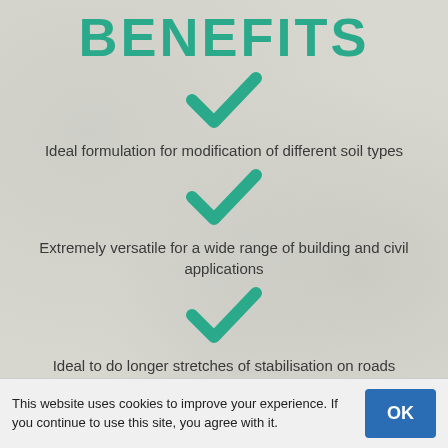BENEFITS
[Figure (illustration): Teal checkmark icon]
Ideal formulation for modification of different soil types
[Figure (illustration): Teal checkmark icon]
Extremely versatile for a wide range of building and civil applications
[Figure (illustration): Teal checkmark icon]
Ideal to do longer stretches of stabilisation on roads
This website uses cookies to improve your experience. If you continue to use this site, you agree with it.